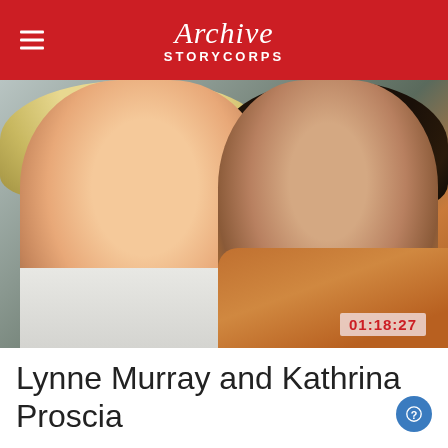Archive STORYCORPS
[Figure (photo): Two women posing together and smiling. The woman on the left has blonde hair and is wearing a white top with a blue necklace. The woman on the right has dark hair and is wearing an orange/rust-colored scarf. A timestamp of 01:18:27 is visible in the lower right corner of the photo.]
Lynne Murray and Kathrina Proscia